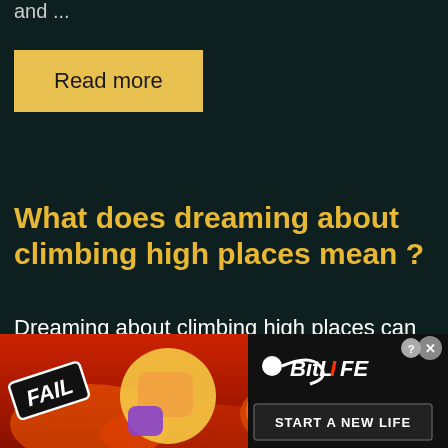and ...
Read more
What does dreaming about climbing high places mean ?
Dreaming about climbing high places can be scary. However, there is no reason to be worry. In order to better
[Figure (screenshot): Advertisement banner for BitLife game featuring FAIL text, facepalm emoji, fire emoji, BitLife logo with sperm icon, and 'START A NEW LIFE' text on dark/red background]